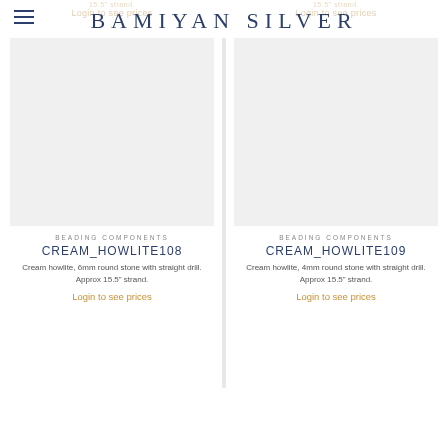BAMIYAN SILVER
[Figure (photo): Product image placeholder for CREAM_HOWLITE108 – light grey background, no visible product]
BEADING COMPONENTS
CREAM_HOWLITE108
Cream howlite, 6mm round stone with straight drill. Approx 15.5" strand.
Login to see prices
[Figure (photo): Product image placeholder for CREAM_HOWLITE109 – light grey background, no visible product]
BEADING COMPONENTS
CREAM_HOWLITE109
Cream howlite, 4mm round stone with straight drill. Approx 15.5" strand.
Login to see prices